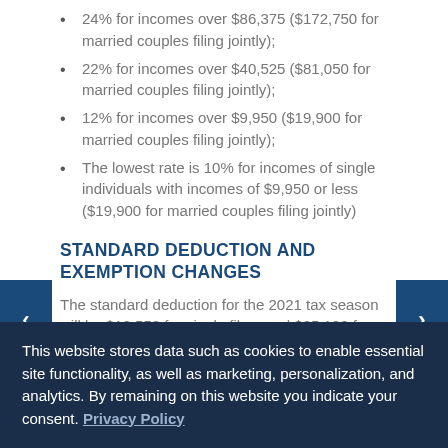24% for incomes over $86,375 ($172,750 for married couples filing jointly);
22% for incomes over $40,525 ($81,050 for married couples filing jointly);
12% for incomes over $9,950 ($19,900 for married couples filing jointly);
The lowest rate is 10% for incomes of single individuals with incomes of $9,950 or less ($19,900 for married couples filing jointly)
STANDARD DEDUCTION AND EXEMPTION CHANGES
The standard deduction for the 2021 tax season will be $12,550 for single filers and $25,100 for
This website stores data such as cookies to enable essential site functionality, as well as marketing, personalization, and analytics. By remaining on this website you indicate your consent. Privacy Policy